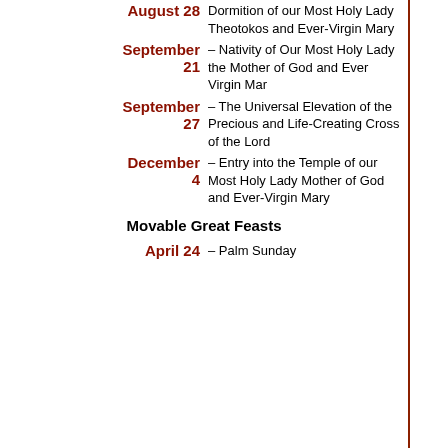| Date | Feast |
| --- | --- |
| August 28 | Dormition of our Most Holy Lady Theotokos and Ever-Virgin Mary |
| September 21 | – Nativity of Our Most Holy Lady the Mother of God and Ever Virgin Mar |
| September 27 | – The Universal Elevation of the Precious and Life-Creating Cross of the Lord |
| December 4 | – Entry into the Temple of our Most Holy Lady Mother of God and Ever-Virgin Mary |
Movable Great Feasts
| Date | Feast |
| --- | --- |
| April 24 | – Palm Sunday |